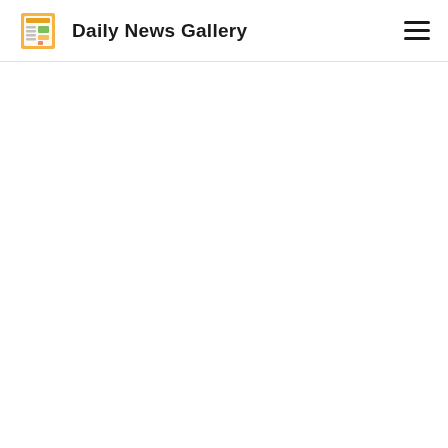Daily News Gallery
[Figure (logo): Daily News Gallery logo with newspaper icon on the left and site name text on the right, plus a hamburger menu icon on the far right]